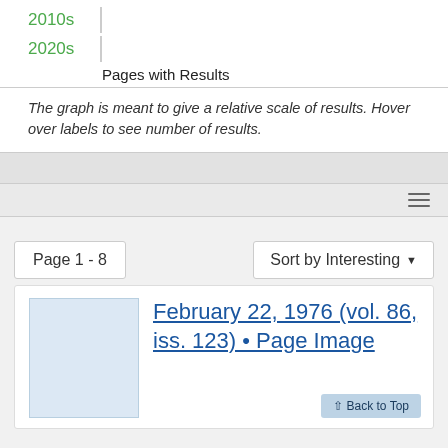[Figure (bar-chart): Pages with Results]
The graph is meant to give a relative scale of results. Hover over labels to see number of results.
Page 1 - 8
Sort by Interesting
February 22, 1976 (vol. 86, iss. 123) • Page Image